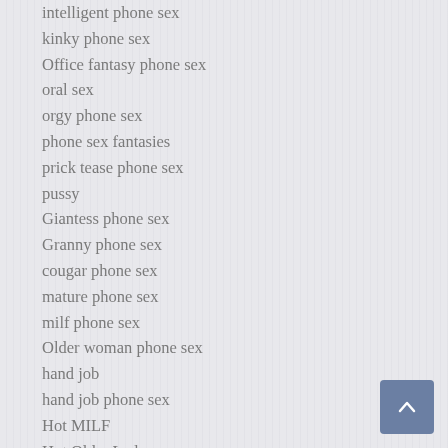intelligent phone sex
kinky phone sex
Office fantasy phone sex
oral sex
orgy phone sex
phone sex fantasies
prick tease phone sex
pussy
Giantess phone sex
Granny phone sex
cougar phone sex
mature phone sex
milf phone sex
Older woman phone sex
hand job
hand job phone sex
Hot MILF
Hot Older Lady